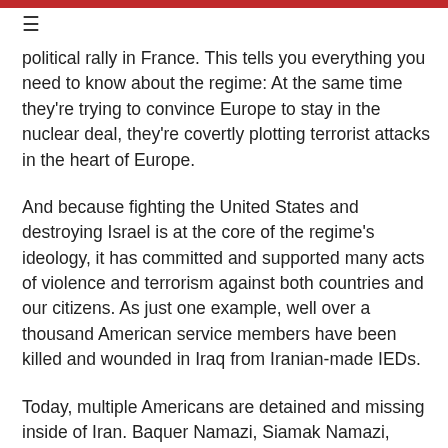≡
political rally in France. This tells you everything you need to know about the regime: At the same time they're trying to convince Europe to stay in the nuclear deal, they're covertly plotting terrorist attacks in the heart of Europe.
And because fighting the United States and destroying Israel is at the core of the regime's ideology, it has committed and supported many acts of violence and terrorism against both countries and our citizens. As just one example, well over a thousand American service members have been killed and wounded in Iraq from Iranian-made IEDs.
Today, multiple Americans are detained and missing inside of Iran. Baquer Namazi, Siamak Namazi, Xiyue Wang are unjustly held by the regime to this day, and Bob Levinson